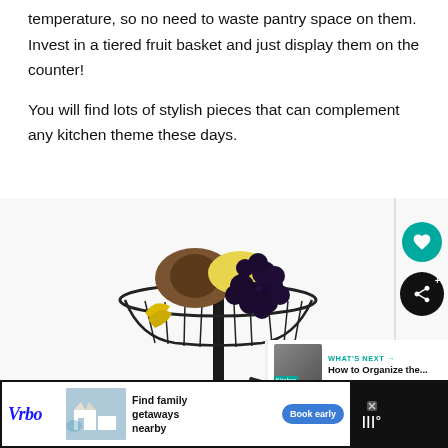temperature, so no need to waste pantry space on them. Invest in a tiered fruit basket and just display them on the counter!
You will find lots of stylish pieces that can complement any kitchen theme these days.
[Figure (photo): A tiered black wire fruit basket stand holding various fruits including grapes, avocado, citrus, apples, and other fruits on a white background.]
[Figure (other): WHAT'S NEXT callout box with thumbnail showing: How to Organize the...]
[Figure (other): Vrbo advertisement banner with text 'Find family getaways nearby' and 'Book early' button]